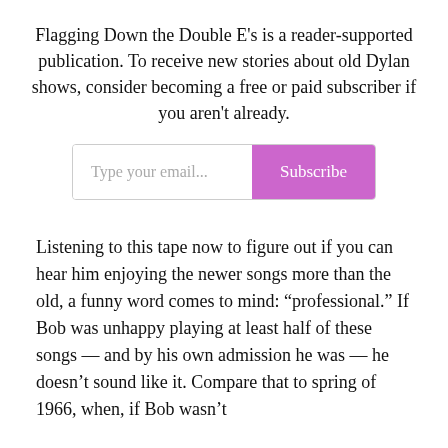Flagging Down the Double E's is a reader-supported publication. To receive new stories about old Dylan shows, consider becoming a free or paid subscriber if you aren't already.
[Figure (other): Email subscription widget with text input placeholder 'Type your email...' and a purple 'Subscribe' button]
Listening to this tape now to figure out if you can hear him enjoying the newer songs more than the old, a funny word comes to mind: “professional.” If Bob was unhappy playing at least half of these songs — and by his own admission he was — he doesn’t sound like it. Compare that to spring of 1966, when, if Bob wasn’t